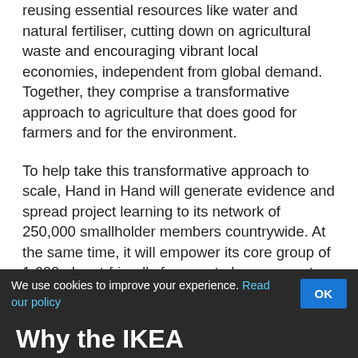reusing essential resources like water and natural fertiliser, cutting down on agricultural waste and encouraging vibrant local economies, independent from global demand. Together, they comprise a transformative approach to agriculture that does good for farmers and for the environment.
To help take this transformative approach to scale, Hand in Hand will generate evidence and spread project learning to its network of 250,000 smallholder members countrywide. At the same time, it will empower its core group of 1,600 planet-friendly farmers to be grassroots advocates for regenerative and circular practices at the local and regional levels.
The three-year, US $2.5 million project concludes in September 2023.
We use cookies to improve your experience. Read our policy
Why the IKEA